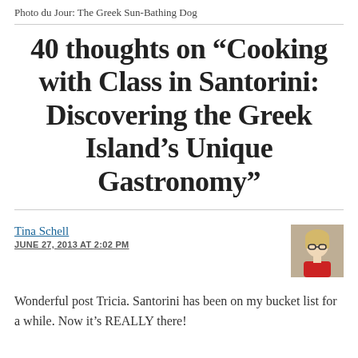Photo du Jour: The Greek Sun-Bathing Dog
40 thoughts on “Cooking with Class in Santorini: Discovering the Greek Island’s Unique Gastronomy”
Tina Schell
JUNE 27, 2013 AT 2:02 PM
[Figure (photo): Small avatar/profile photo of a woman with glasses and short blonde hair, wearing a red top.]
Wonderful post Tricia. Santorini has been on my bucket list for a while. Now it’s REALLY there!